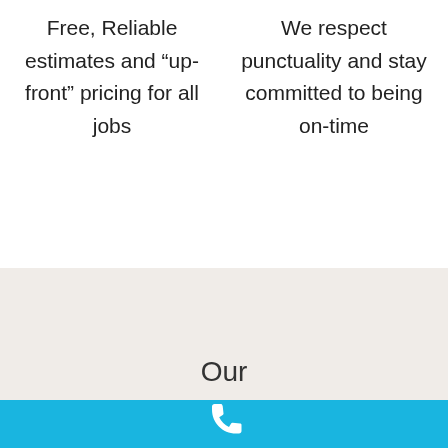Free, Reliable estimates and “up-front” pricing for all jobs
We respect punctuality and stay committed to being on-time
Our
[Figure (illustration): White phone/call icon on a sky-blue horizontal bar at the bottom of the page]